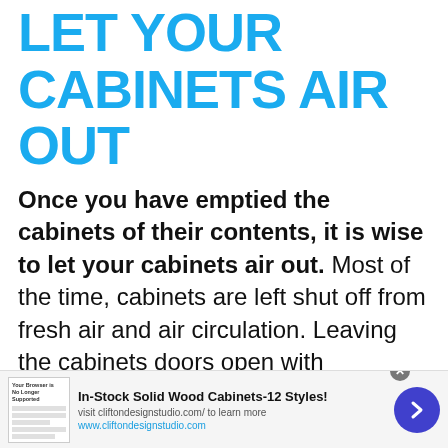LET YOUR CABINETS AIR OUT
Once you have emptied the cabinets of their contents, it is wise to let your cabinets air out. Most of the time, cabinets are left shut off from fresh air and air circulation. Leaving the cabinets doors open with...
[Figure (other): Advertisement banner: In-Stock Solid Wood Cabinets-12 Styles! visit cliftondesignstudio.com/ to learn more, www.cliftondesignstudio.com, with thumbnail image and arrow button]